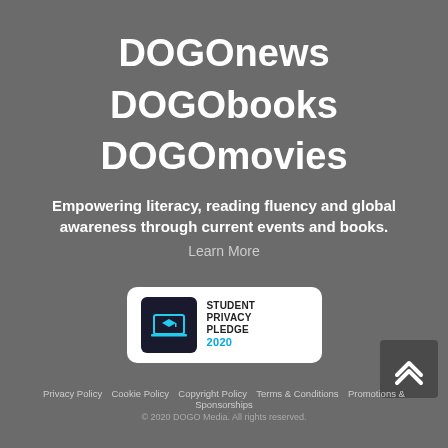DOGOnews
DOGObooks
DOGOmovies
Empowering literacy, reading fluency and global awareness through current events and books.
Learn More
[Figure (logo): Student Privacy Pledge 2020 badge with laptop/graduation cap icon on dark background]
Privacy Policy  Cookie Policy  Copyright Policy  Terms & Conditions  Promotions & Sponsorships